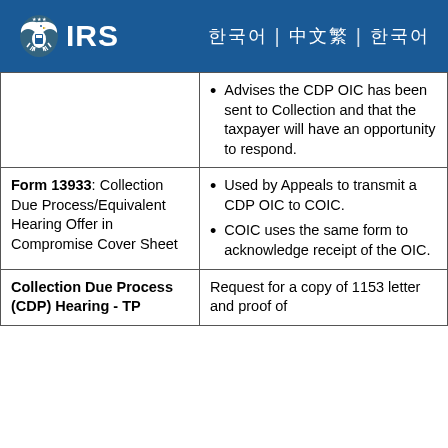IRS
| Form/Document | Description/Use |
| --- | --- |
|  | Advises the CDP OIC has been sent to Collection and that the taxpayer will have an opportunity to respond. |
| Form 13933: Collection Due Process/Equivalent Hearing Offer in Compromise Cover Sheet | Used by Appeals to transmit a CDP OIC to COIC.
COIC uses the same form to acknowledge receipt of the OIC. |
| Collection Due Process (CDP) Hearing - TP | Request for a copy of 1153 letter and proof of |